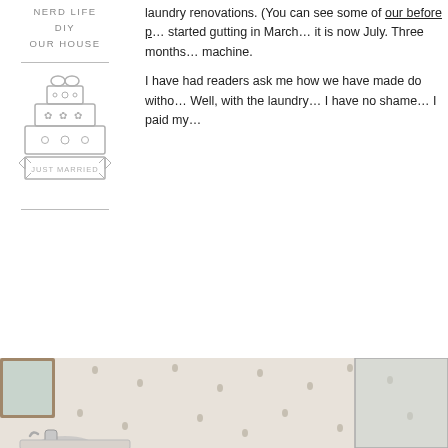NERD LIFE
DIY
OUR HOUSE
[Figure (illustration): Wedding cake logo with 'JUST MARRIED' banner ribbon, illustrated in light gray line art style]
laundry renovations. (You can see some of our before p… started gutting in March… it is now July. Three months… machine.
I have had readers ask me how we have made do witho… Well, with the laundry… I have no shame… I paid my…
[Figure (photo): Bathroom photo showing a chrome vintage-style basin tap/faucet with a white basin sink, tiled walls with small floral/clover pattern tiles, a framed mirror on the left, and a chrome shower hose and rail on the right side with a glass shower screen.]